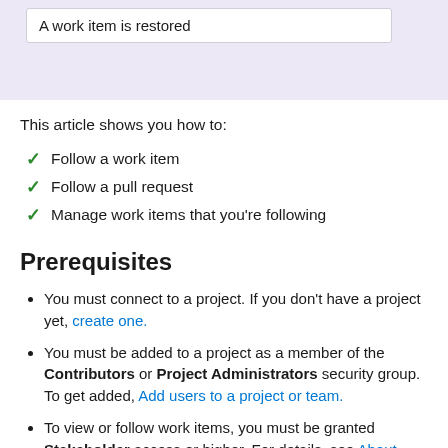A work item is restored
This article shows you how to:
Follow a work item
Follow a pull request
Manage work items that you're following
Prerequisites
You must connect to a project. If you don't have a project yet, create one.
You must be added to a project as a member of the Contributors or Project Administrators security group. To get added, Add users to a project or team.
To view or follow work items, you must be granted Stakeholder access or higher. For details, see About